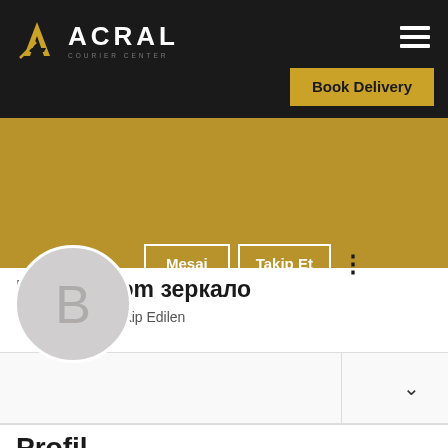[Figure (logo): ACRAL Courier Center logo — gold/yellow stylized 'A' icon on left, white bold text 'ACRAL' to the right, small subtitle text 'COURIER CENTER' below, all on black background]
[Figure (screenshot): Mobile website header with hamburger menu icon (three lines) on the right side, black background]
[Figure (other): Gold/amber colored 'Book Delivery' button with dark bold text]
[Figure (other): Gold/amber profile banner background]
[Figure (other): Circular avatar with light gray background and large gray letter B in center]
[Figure (other): Two profile action buttons: 'Mesaj' and 'Takip Et' with white borders on gold background, plus three-dot menu icon]
Bitstarz.com зеркало
0 Takipçiler • 0 Takip Edilen
Profil